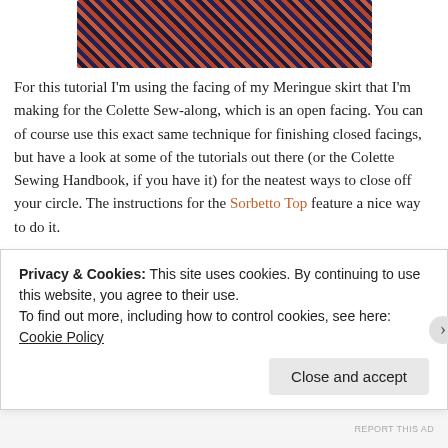[Figure (photo): Close-up photo of a woven fabric with a plaid/checkered pattern in dark navy blue and rust/red-orange colors, placed on a light wooden surface.]
For this tutorial I'm using the facing of my Meringue skirt that I'm making for the Colette Sew-along, which is an open facing. You can of course use this exact same technique for finishing closed facings, but have a look at some of the tutorials out there (or the Colette Sewing Handbook, if you have it) for the neatest ways to close off your circle. The instructions for the Sorbetto Top feature a nice way to do it.
Supplies
Your facing pieces (or other pieces that need binding). Make
Privacy & Cookies: This site uses cookies. By continuing to use this website, you agree to their use.
To find out more, including how to control cookies, see here: Cookie Policy
Close and accept